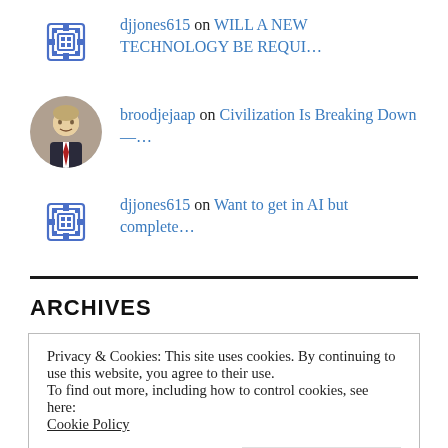djjones615 on WILL A NEW TECHNOLOGY BE REQUI…
broodjejaap on Civilization Is Breaking Down—…
djjones615 on Want to get in AI but complete…
ARCHIVES
Privacy & Cookies: This site uses cookies. By continuing to use this website, you agree to their use.
To find out more, including how to control cookies, see here: Cookie Policy
Close and accept
March 2018